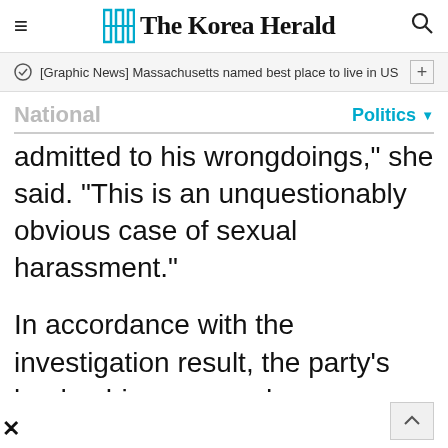The Korea Herald
[Graphic News] Massachusetts named best place to live in US
National
Politics
admitted to his wrongdoings," she said. "This is an unquestionably obvious case of sexual harassment."
In accordance with the investigation result, the party's leadership convened a disciplinary committee meeting earlier in the morning and decided to dismiss Kim from the party chief post, according to party officials.